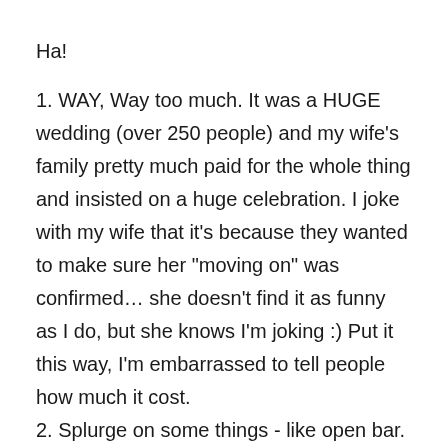Ha!
1. WAY, Way too much. It was a HUGE wedding (over 250 people) and my wife’s family pretty much paid for the whole thing and insisted on a huge celebration. I joke with my wife that it’s because they wanted to make sure her “moving on” was confirmed… she doesn’t find it as funny as I do, but she knows I’m joking :) Put it this way, I’m embarrassed to tell people how much it cost.
2. Splurge on some things - like open bar. We had a food and beverage minimum on the place that wsa impossible to hit so we added complete open bar at the end.